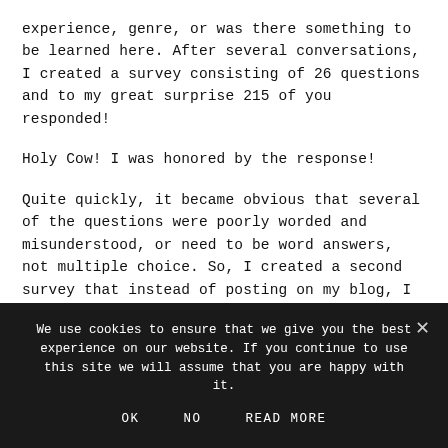experience, genre, or was there something to be learned here. After several conversations, I created a survey consisting of 26 questions and to my great surprise 215 of you responded!
Holy Cow! I was honored by the response!
Quite quickly, it became obvious that several of the questions were poorly worded and misunderstood, or need to be word answers, not multiple choice. So, I created a second survey that instead of posting on my blog, I sent out to everyone who answered the first questionnaire. Again, I was amazed
We use cookies to ensure that we give you the best experience on our website. If you continue to use this site we will assume that you are happy with it.
OK   NO   READ MORE